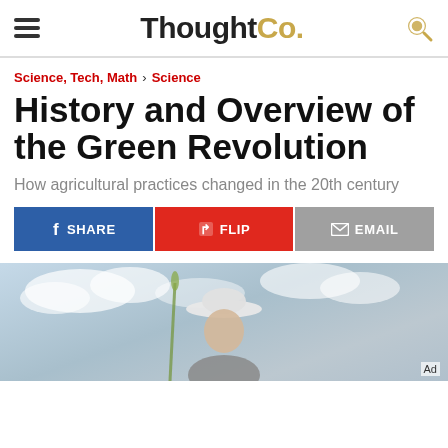ThoughtCo.
Science, Tech, Math › Science
History and Overview of the Green Revolution
How agricultural practices changed in the 20th century
SHARE   FLIP   EMAIL
[Figure (photo): Elderly man in a white hat standing in a field, with a cloudy sky background. Photo relates to the Green Revolution article.]